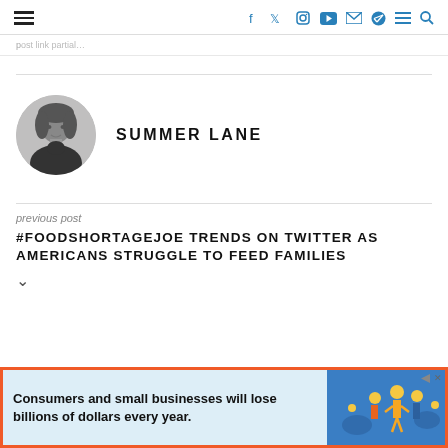Navigation header with hamburger menu, social icons (Facebook, Twitter, Instagram, YouTube, Email, Telegram, menu, search)
previous post link (partial)
[Figure (photo): Black and white circular headshot photo of Summer Lane, a woman with shoulder-length wavy hair wearing a turtleneck]
SUMMER LANE
previous post
#FOODSHORTAGEJOE TRENDS ON TWITTER AS AMERICANS STRUGGLE TO FEED FAMILIES
[Figure (infographic): Advertisement banner with orange border: 'Consumers and small businesses will lose billions of dollars every year.' with illustrated figures on blue background]